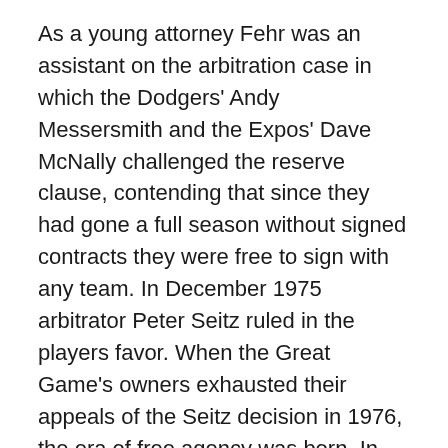As a young attorney Fehr was an assistant on the arbitration case in which the Dodgers' Andy Messersmith and the Expos' Dave McNally challenged the reserve clause, contending that since they had gone a full season without signed contracts they were free to sign with any team. In December 1975 arbitrator Peter Seitz ruled in the players favor. When the Great Game's owners exhausted their appeals of the Seitz decision in 1976, the era of free agency was born. In 1977 Marvin Miller made Fehr the general counsel of the MLB Players Association, and in 1985 he succeeded Miller as the union's executive director.
At a time when newly freed players were flexing their muscles, and owners spent as much time fighting each other as they did the hired help, Fehr led his charges to new heights. He successfully brought multiple collusion